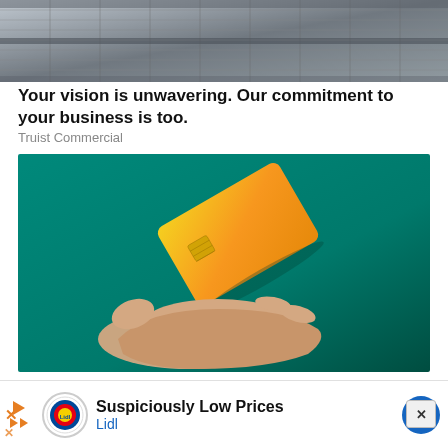[Figure (photo): Solar panels viewed from above, grey and dark metallic surface]
Your vision is unwavering. Our commitment to your business is too.
Truist Commercial
[Figure (photo): A hand held open palm up with a gold/yellow credit card floating above it, on a teal/green background]
Hands Down One of the Best Cards for Good Credit
The Ascent
[Figure (photo): Partial view of another advertisement with blue/grey background, partially visible]
Suspiciously Low Prices
Lidl